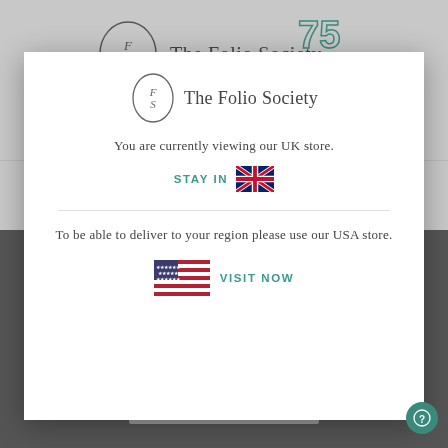[Figure (screenshot): The Folio Society website header with logo and 75th anniversary badge on grey background]
[Figure (screenshot): Navigation bar with hamburger menu, UK flag, search icon, and shopping bag icon]
[Figure (screenshot): Modal dialog with The Folio Society logo, store selection message, UK flag Stay In option and USA flag Visit Now option]
You are currently viewing our UK store.
STAY IN
To be able to deliver to your region please use our USA store.
VISIT NOW
ACCEPT ALL